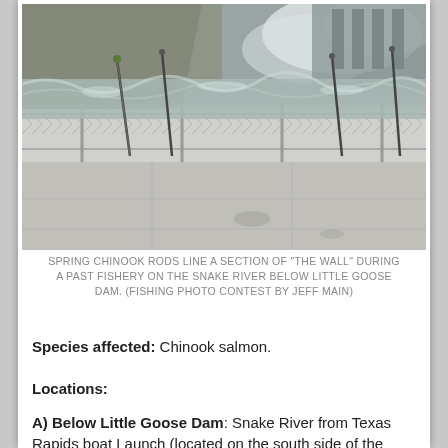[Figure (photo): Fishing rods lined up along a chain-link fence ('The Wall') at Little Goose Dam on the Snake River, with churning water from the dam visible in the background.]
SPRING CHINOOK RODS LINE A SECTION OF "THE WALL" DURING A PAST FISHERY ON THE SNAKE RIVER BELOW LITTLE GOOSE DAM. (FISHING PHOTO CONTEST BY JEFF MAIN)
Species affected: Chinook salmon.
Locations:
A) Below Little Goose Dam: Snake River from Texas Rapids boat Launch (located on the south side of the